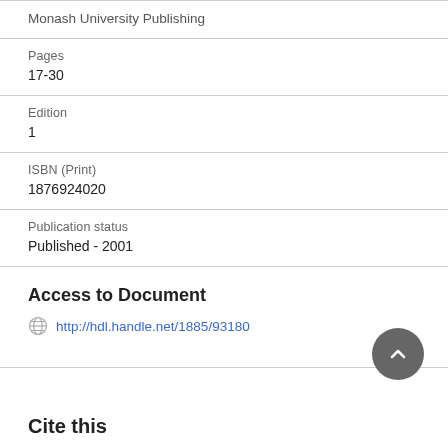Monash University Publishing
Pages
17-30
Edition
1
ISBN (Print)
1876924020
Publication status
Published - 2001
Access to Document
http://hdl.handle.net/1885/93180
Cite this